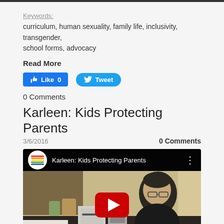Keywords:
curriculum, human sexuality, family life, inclusivity, transgender, school forms, advocacy
Read More
[Figure (screenshot): Facebook Like button showing 'Like 0' and Twitter Tweet button]
0 Comments
Karleen: Kids Protecting Parents
3/6/2016
0 Comments
[Figure (screenshot): YouTube video embed showing 'Karleen: Kids Protecting Parents' with a person sitting at a kitchen counter, rainbow circle avatar, and YouTube play button overlay]